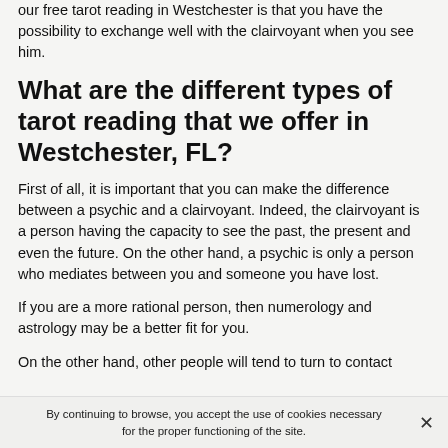our free tarot reading in Westchester is that you have the possibility to exchange well with the clairvoyant when you see him.
What are the different types of tarot reading that we offer in Westchester, FL?
First of all, it is important that you can make the difference between a psychic and a clairvoyant. Indeed, the clairvoyant is a person having the capacity to see the past, the present and even the future. On the other hand, a psychic is only a person who mediates between you and someone you have lost.
If you are a more rational person, then numerology and astrology may be a better fit for you.
On the other hand, other people will tend to turn to contact
By continuing to browse, you accept the use of cookies necessary for the proper functioning of the site.